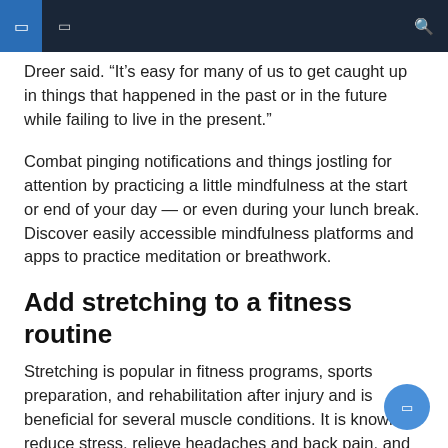Navigation bar
Dreer said. “It’s easy for many of us to get caught up in things that happened in the past or in the future while failing to live in the present.”
Combat pinging notifications and things jostling for attention by practicing a little mindfulness at the start or end of your day — or even during your lunch break. Discover easily accessible mindfulness platforms and apps to practice meditation or breathwork.
Add stretching to a fitness routine
Stretching is popular in fitness programs, sports preparation, and rehabilitation after injury and is beneficial for several muscle conditions. It is known to reduce stress, relieve headaches and back pain, and increase muscle flexibility and bone strength.